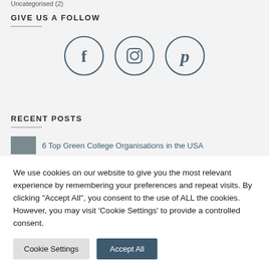Uncategorised (2)
GIVE US A FOLLOW
[Figure (illustration): Three circular social media icons: Facebook (f), Instagram (camera), Pinterest (p) arranged horizontally]
RECENT POSTS
6 Top Green College Organisations in the USA
We use cookies on our website to give you the most relevant experience by remembering your preferences and repeat visits. By clicking "Accept All", you consent to the use of ALL the cookies. However, you may visit 'Cookie Settings' to provide a controlled consent.